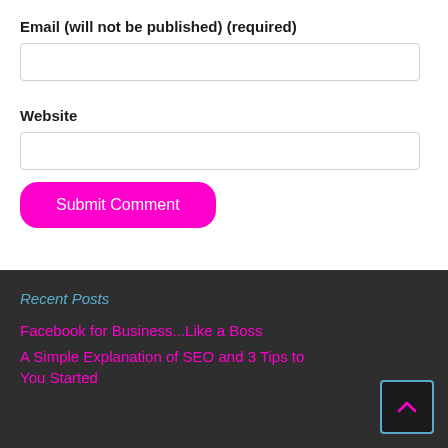Email (will not be published) (required)
Website
Submit Comment
Recent Posts
Facebook for Business...Like a Boss
A Simple Explanation of SEO and 3 Tips to You Started